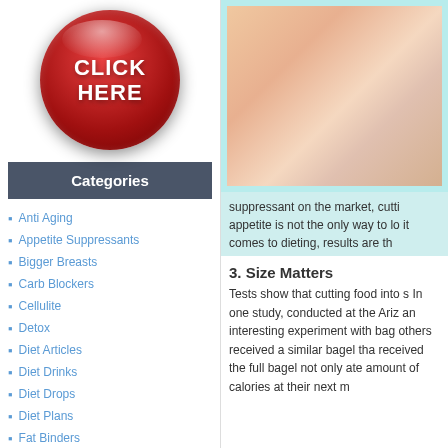[Figure (illustration): Red glossy circular button with white bold text reading CLICK HERE]
Categories
Anti Aging
Appetite Suppressants
Bigger Breasts
Carb Blockers
Cellulite
Detox
Diet Articles
Diet Drinks
Diet Drops
Diet Plans
Fat Binders
Fat Burners
[Figure (photo): Close-up photo of hands with a measuring tape, warm toned background]
suppressant on the market, cutti appetite is not the only way to lo it comes to dieting, results are th
3. Size Matters
Tests show that cutting food into s In one study, conducted at the Ariz an interesting experiment with bag others received a similar bagel tha received the full bagel not only ate amount of calories at their next m